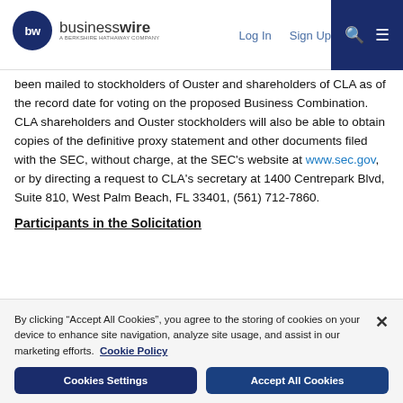[Figure (logo): BusinessWire logo - a Berkshire Hathaway company, with circular BW icon]
Log In   Sign Up
been mailed to stockholders of Ouster and shareholders of CLA as of the record date for voting on the proposed Business Combination. CLA shareholders and Ouster stockholders will also be able to obtain copies of the definitive proxy statement and other documents filed with the SEC, without charge, at the SEC's website at www.sec.gov, or by directing a request to CLA's secretary at 1400 Centrepark Blvd, Suite 810, West Palm Beach, FL 33401, (561) 712-7860.
Participants in the Solicitation
By clicking “Accept All Cookies”, you agree to the storing of cookies on your device to enhance site navigation, analyze site usage, and assist in our marketing efforts.   Cookie Policy
Cookies Settings   Accept All Cookies